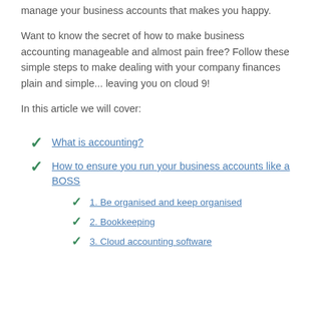manage your business accounts that makes you happy.
Want to know the secret of how to make business accounting manageable and almost pain free? Follow these simple steps to make dealing with your company finances plain and simple... leaving you on cloud 9!
In this article we will cover:
What is accounting?
How to ensure you run your business accounts like a BOSS
1. Be organised and keep organised
2. Bookkeeping
3. Cloud accounting software